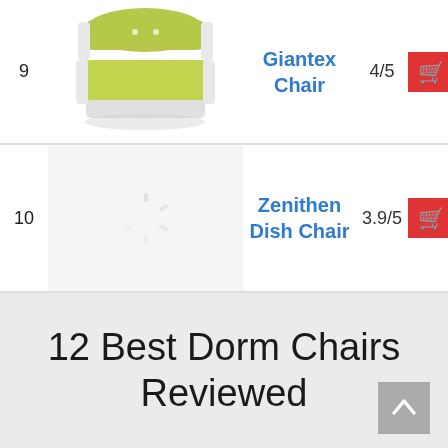9  Giantex Chair  4/5
[Figure (photo): Green/lime folding chair product photo]
[Figure (other): Shopping cart button (red)]
10  Zenithen Dish Chair  3.9/5
[Figure (other): Loading spinner image placeholder]
[Figure (other): Shopping cart button (red)]
12 Best Dorm Chairs Reviewed